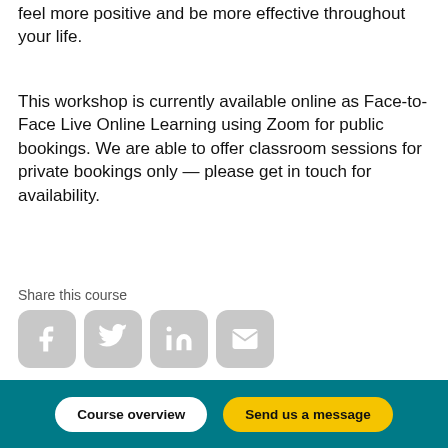feel more positive and be more effective throughout your life.
This workshop is currently available online as Face-to-Face Live Online Learning using Zoom for public bookings. We are able to offer classroom sessions for private bookings only — please get in touch for availability.
Share this course
[Figure (other): Four social media sharing icons: Facebook, Twitter, LinkedIn, Email — rounded square grey buttons]
Course Overview
Course overview
Send us a message